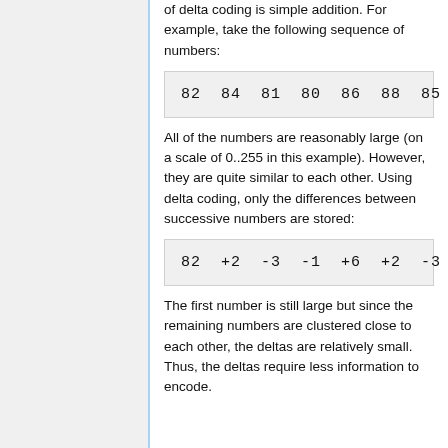of delta coding is simple addition. For example, take the following sequence of numbers:
82  84  81  80  86  88  85
All of the numbers are reasonably large (on a scale of 0..255 in this example). However, they are quite similar to each other. Using delta coding, only the differences between successive numbers are stored:
82  +2  -3  -1  +6  +2  -3
The first number is still large but since the remaining numbers are clustered close to each other, the deltas are relatively small. Thus, the deltas require less information to encode.